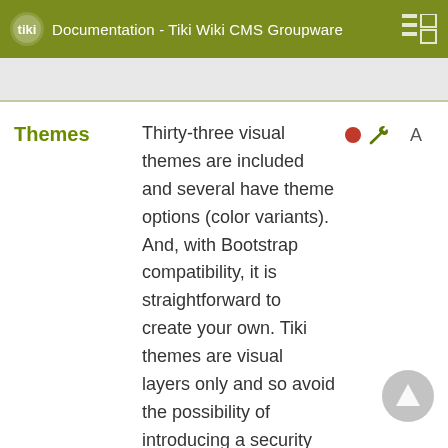Documentation - Tiki Wiki CMS Groupware
Themes
Thirty-three visual themes are included and several have theme options (color variants). And, with Bootstrap compatibility, it is straightforward to create your own. Tiki themes are visual layers only and so avoid the possibility of introducing a security vulnerability.